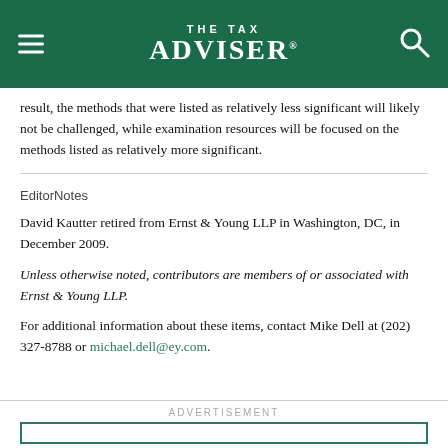THE TAX ADVISER
result, the methods that were listed as relatively less significant will likely not be challenged, while examination resources will be focused on the methods listed as relatively more significant.
EditorNotes
David Kautter retired from Ernst & Young LLP in Washington, DC, in December 2009.
Unless otherwise noted, contributors are members of or associated with Ernst & Young LLP.
For additional information about these items, contact Mike Dell at (202) 327-8788 or michael.dell@ey.com.
ADVERTISEMENT